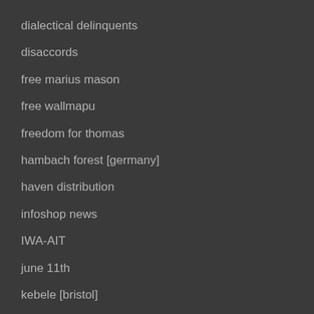dialectical delinquents
disaccords
free marius mason
free wallmapu
freedom for thomas
hambach forest [germany]
haven distribution
infoshop news
IWA-AIT
june 11th
kebele [bristol]
MST [brazil]
naalpo
nyc abc
onsite.infoshop [philippines]